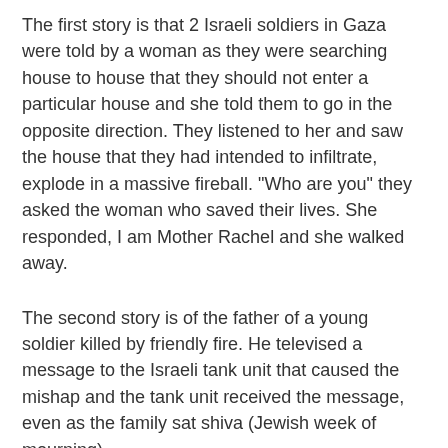The first story is that 2 Israeli soldiers in Gaza were told by a woman as they were searching house to house that they should not enter a particular house and she told them to go in the opposite direction. They listened to her and saw the house that they had intended to infiltrate, explode in a massive fireball. "Who are you" they asked the woman who saved their lives. She responded, I am Mother Rachel and she walked away.
The second story is of the father of a young soldier killed by friendly fire. He televised a message to the Israeli tank unit that caused the mishap and the tank unit received the message, even as the family sat shiva (Jewish week of mourning).
Here is an excerpt from Matthew Wagner's article (Jerusalem Post Jan 11, 2009)titled, Family of IDF soldier Who Fell to Friendly Fire: 'Everything that happens Must be for the Better'
Rabbi Amos Netanel, whose son Capt. Yonatan Netanel was killed by friendly fire several weeks ago in Gaza, told the